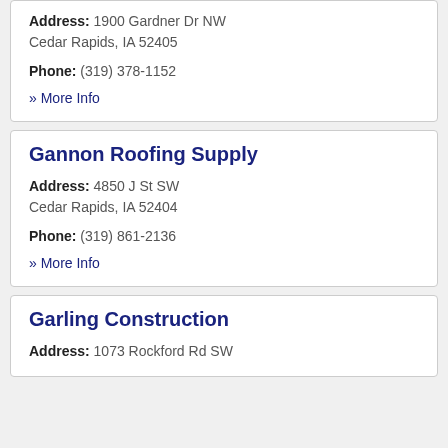Address: 1900 Gardner Dr NW Cedar Rapids, IA 52405
Phone: (319) 378-1152
» More Info
Gannon Roofing Supply
Address: 4850 J St SW Cedar Rapids, IA 52404
Phone: (319) 861-2136
» More Info
Garling Construction
Address: 1073 Rockford Rd SW